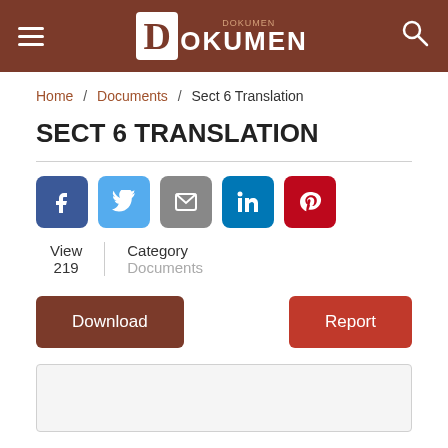DOKUMEN
Home / Documents / Sect 6 Translation
SECT 6 TRANSLATION
[Figure (infographic): Social sharing buttons: Facebook (blue), Twitter (light blue), Email (gray), LinkedIn (dark blue), Pinterest (red)]
View 219 | Category Documents
Download | Report
[Figure (screenshot): Empty document preview area with light gray background]